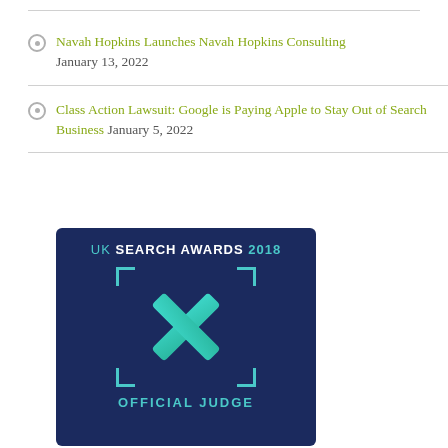Navah Hopkins Launches Navah Hopkins Consulting January 13, 2022
Class Action Lawsuit: Google is Paying Apple to Stay Out of Search Business January 5, 2022
[Figure (logo): UK Search Awards 2018 Official Judge badge — dark navy blue card with teal/cyan X mark logo, corner bracket marks, and text 'UK SEARCH AWARDS 2018' at top and 'OFFICIAL JUDGE' at bottom in teal font.]